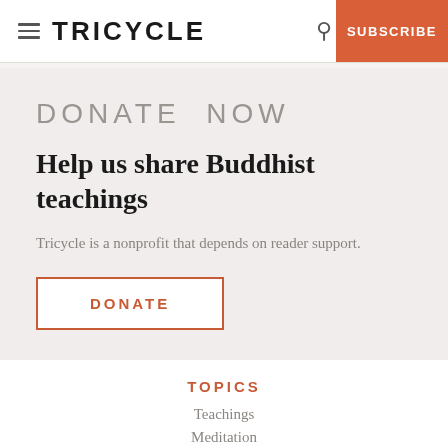TRICYCLE | SUBSCRIBE
DONATE NOW
Help us share Buddhist teachings
Tricycle is a nonprofit that depends on reader support.
DONATE
TOPICS
Teachings
Meditation
Ideas
Culture